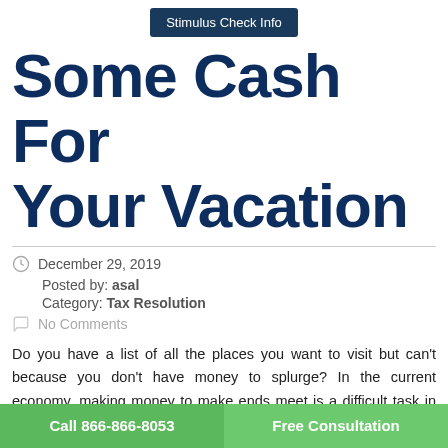Stimulus Check Info
Some Cash For Your Vacation
December 29, 2019
Posted by: asal
Category: Tax Resolution
No Comments
Do you have a list of all the places you want to visit but can't because you don't have money to splurge? In the current economy, making money to make ends meet is a difficult task in itself. Plan... ...vent. But sometimes, you just have to escape from your daily life. If